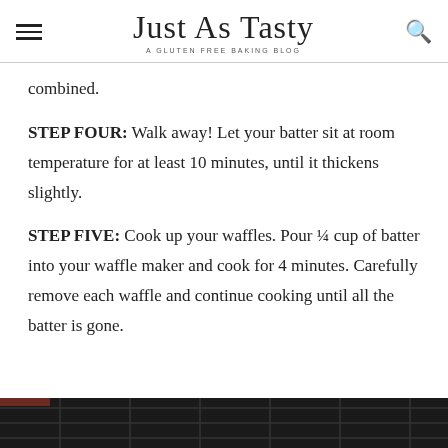Just As Tasty — A Gluten Free Baking Blog
combined.
STEP FOUR: Walk away! Let your batter sit at room temperature for at least 10 minutes, until it thickens slightly.
STEP FIVE: Cook up your waffles. Pour ¼ cup of batter into your waffle maker and cook for 4 minutes. Carefully remove each waffle and continue cooking until all the batter is gone.
[Figure (photo): Bottom portion of a waffle maker or waffle iron, dark metallic surface visible at bottom of page.]